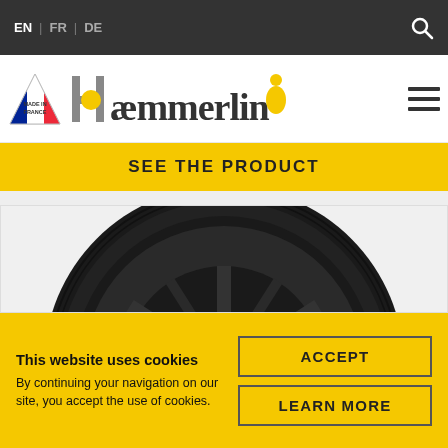EN | FR | DE
[Figure (logo): Haemmerlin logo with Made in France flag badge and company mascot illustration]
SEE THE PRODUCT
[Figure (photo): Close-up top-down view of a black rubber wheelbarrow wheel with spoke pattern]
This website uses cookies
By continuing your navigation on our site, you accept the use of cookies.
ACCEPT
LEARN MORE